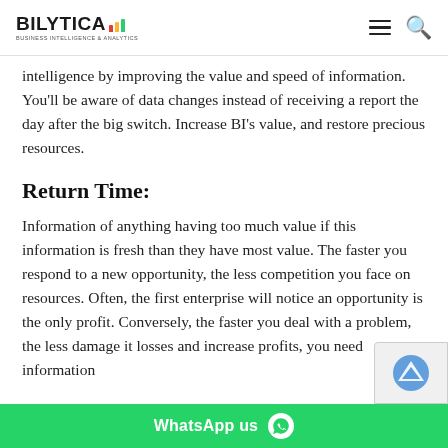BILYTICA — Business Intelligence & Analytics
intelligence by improving the value and speed of information. You'll be aware of data changes instead of receiving a report the day after the big switch. Increase BI's value, and restore precious resources.
Return Time:
Information of anything having too much value if this information is fresh than they have most value. The faster you respond to a new opportunity, the less competition you face on resources. Often, the first enterprise will notice an opportunity is the only profit. Conversely, the faster you deal with a problem, the less damage it losses and increase profits, you need information